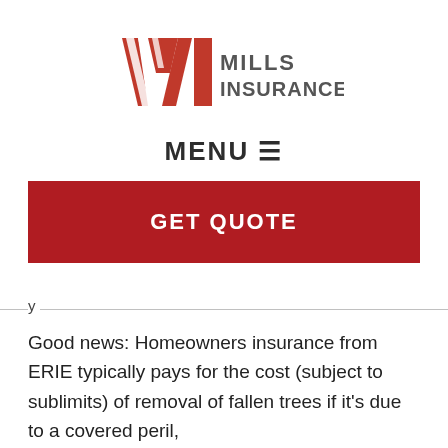[Figure (logo): Mills Insurance logo with red stylized M lettermark and gray text reading MILLS INSURANCE]
MENU ≡
GET QUOTE
Good news: Homeowners insurance from ERIE typically pays for the cost (subject to sublimits) of removal of fallen trees if it's due to a covered peril,